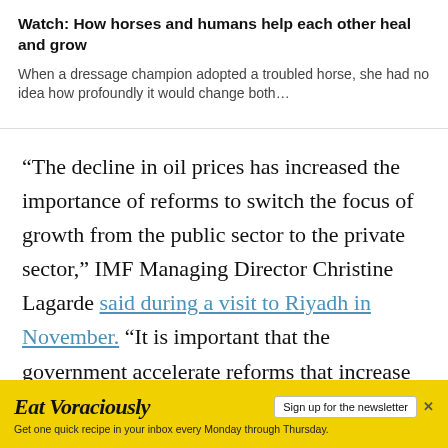Watch: How horses and humans help each other heal and grow
When a dressage champion adopted a troubled horse, she had no idea how profoundly it would change both…
“The decline in oil prices has increased the importance of reforms to switch the focus of growth from the public sector to the private sector,” IMF Managing Director Christine Lagarde said during a visit to Riyadh in November. “It is important that the government accelerate reforms that increase the employment of nationals in the private sector and diversify the economy away from oil. Continued reforms to expand employment opportunities for women would also bring more well-
Eat Voraciously — Sign up for the newsletter. Get one quick recipe in your inbox every Monday through Thursday.